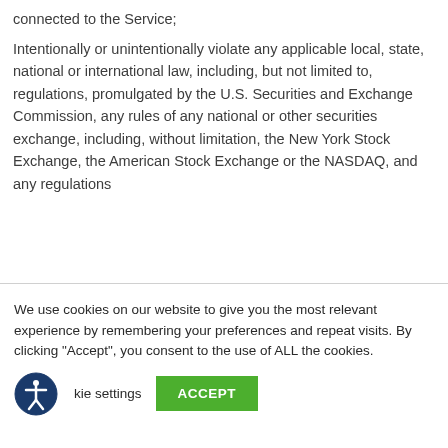connected to the Service;
Intentionally or unintentionally violate any applicable local, state, national or international law, including, but not limited to, regulations, promulgated by the U.S. Securities and Exchange Commission, any rules of any national or other securities exchange, including, without limitation, the New York Stock Exchange, the American Stock Exchange or the NASDAQ, and any regulations
We use cookies on our website to give you the most relevant experience by remembering your preferences and repeat visits. By clicking "Accept", you consent to the use of ALL the cookies.